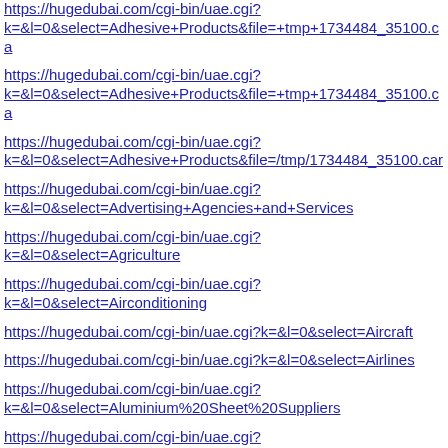https://hugedubai.com/cgi-bin/uae.cgi?k=&l=0&select=Adhesive+Products&file=+tmp+1734484_35100.ca
https://hugedubai.com/cgi-bin/uae.cgi?k=&l=0&select=Adhesive+Products&file=+tmp+1734484_35100.ca
https://hugedubai.com/cgi-bin/uae.cgi?k=&l=0&select=Adhesive+Products&file=/tmp/1734484_35100.car
https://hugedubai.com/cgi-bin/uae.cgi?k=&l=0&select=Advertising+Agencies+and+Services
https://hugedubai.com/cgi-bin/uae.cgi?k=&l=0&select=Agriculture
https://hugedubai.com/cgi-bin/uae.cgi?k=&l=0&select=Airconditioning
https://hugedubai.com/cgi-bin/uae.cgi?k=&l=0&select=Aircraft
https://hugedubai.com/cgi-bin/uae.cgi?k=&l=0&select=Airlines
https://hugedubai.com/cgi-bin/uae.cgi?k=&l=0&select=Aluminium%20Sheet%20Suppliers
https://hugedubai.com/cgi-bin/uae.cgi?k=&l=0&select=Aluminium+Sheet+Suppliers